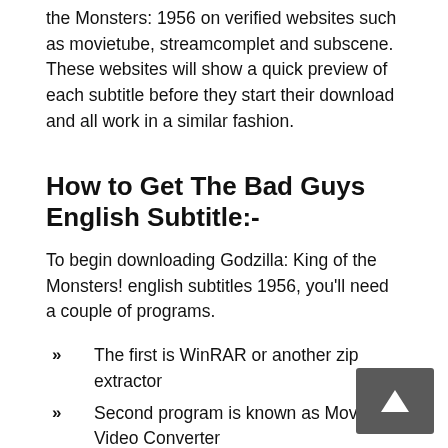the Monsters: 1956 on verified websites such as movietube, streamcomplet and subscene. These websites will show a quick preview of each subtitle before they start their download and all work in a similar fashion.
How to Get The Bad Guys English Subtitle:-
To begin downloading Godzilla: King of the Monsters! english subtitles 1956, you'll need a couple of programs.
The first is WinRAR or another zip extractor
Second program is known as Movavi Video Converter
Put it in subtitle format (.srt).
Need KM Player/MX Player
Add SRT Files On Player